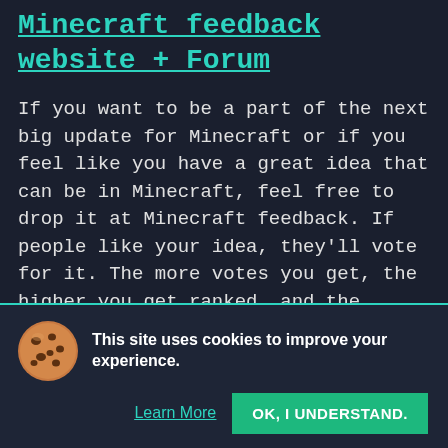Minecraft feedback website + Forum
If you want to be a part of the next big update for Minecraft or if you feel like you have a great idea that can be in Minecraft, feel free to drop it at Minecraft feedback. If people like your idea, they'll vote for it. The more votes you get, the higher you get ranked, and the higher the chances that the devs will actually see them.
Once they see a good idea, they put it into
This site uses cookies to improve your experience.
Learn More
OK, I UNDERSTAND.